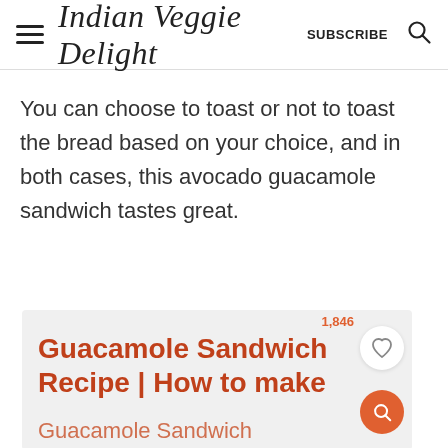Indian Veggie Delight  SUBSCRIBE
You can choose to toast or not to toast the bread based on your choice, and in both cases, this avocado guacamole sandwich tastes great.
[Figure (screenshot): Recipe card preview with title 'Guacamole Sandwich Recipe | How to make Guacamole Sandwich', count 1,846, heart button, and orange search button on light grey background.]